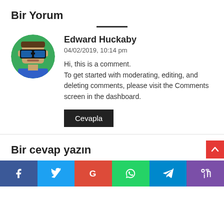Bir Yorum
[Figure (illustration): Pixel-art avatar of Edward Huckaby — a cartoon face with sunglasses and a green background, circular crop.]
Edward Huckaby
04/02/2019, 10:14 pm
Hi, this is a comment.
To get started with moderating, editing, and deleting comments, please visit the Comments screen in the dashboard.
Cevapla
Bir cevap yazın